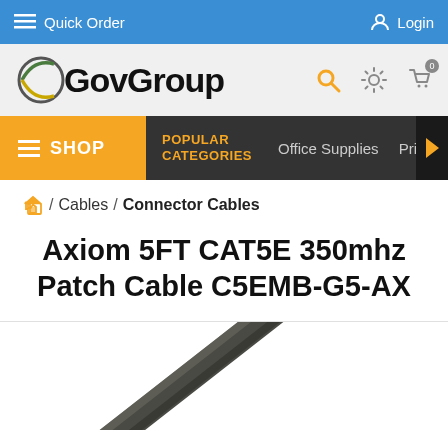Quick Order | Login
[Figure (logo): GovGroup logo with search, settings, and cart icons]
SHOP | POPULAR CATEGORIES | Office Supplies | Print
Home / Cables / Connector Cables
Axiom 5FT CAT5E 350mhz Patch Cable C5EMB-G5-AX
[Figure (photo): Partial image of a grey Ethernet patch cable on white background]